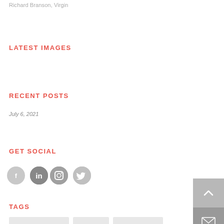Richard Branson, Virgin
LATEST IMAGES
RECENT POSTS
July 6, 2021
GET SOCIAL
[Figure (other): Social media icons: Facebook, LinkedIn, Instagram, Twitter]
TAGS